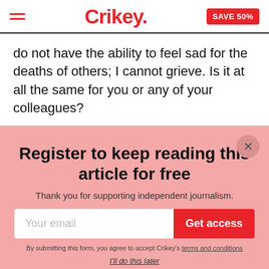Crikey. SAVE 50%
do not have the ability to feel sad for the deaths of others; I cannot grieve. Is it at all the same for you or any of your colleagues?
Register to keep reading this article for free
Thank you for supporting independent journalism.
Your email
Get access
By submitting this form, you agree to accept Crikey's terms and conditions
I'll do this later